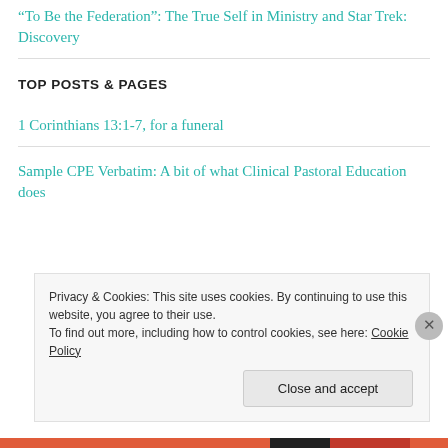“To Be the Federation”: The True Self in Ministry and Star Trek: Discovery
TOP POSTS & PAGES
1 Corinthians 13:1-7, for a funeral
Sample CPE Verbatim: A bit of what Clinical Pastoral Education does
Privacy & Cookies: This site uses cookies. By continuing to use this website, you agree to their use.
To find out more, including how to control cookies, see here: Cookie Policy